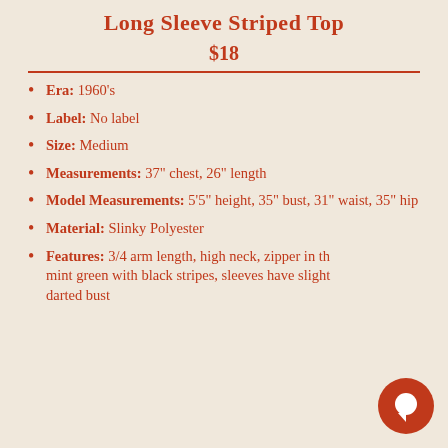Long Sleeve Striped Top
$18
Era: 1960's
Label: No label
Size: Medium
Measurements: 37" chest, 26" length
Model Measurements: 5'5" height, 35" bust, 31" waist, 35" hip
Material: Slinky Polyester
Features: 3/4 arm length, high neck, zipper in th… mint green with black stripes, sleeves have slight… darted bust